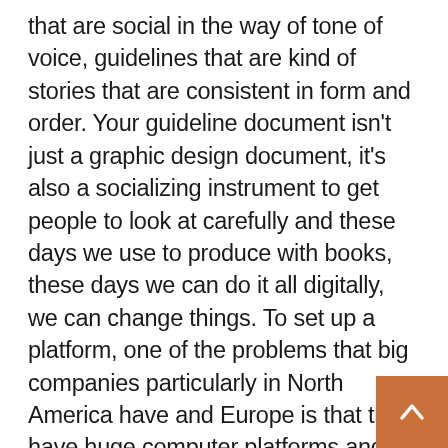that are social in the way of tone of voice, guidelines that are kind of stories that are consistent in form and order. Your guideline document isn't just a graphic design document, it's also a socializing instrument to get people to look at carefully and these days we use to produce with books, these days we can do it all digitally, we can change things. To set up a platform, one of the problems that big companies particularly in North America have and Europe is that they have huge computer platforms and they put this sort of materials on what's called DocuShare or some sort of big SMP system or something like that and it doesn't have that sort of life in it. But if you come into a guideline site and it's an internal